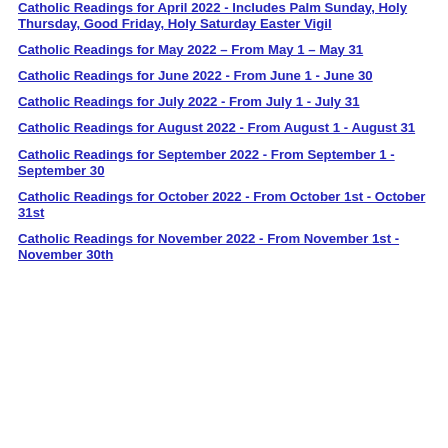Catholic Readings for April 2022 - Includes Palm Sunday, Holy Thursday, Good Friday, Holy Saturday Easter Vigil
Catholic Readings for May 2022 – From May 1 – May 31
Catholic Readings for June 2022 - From June 1 - June 30
Catholic Readings for July 2022 - From July 1 - July 31
Catholic Readings for August 2022 - From August 1 - August 31
Catholic Readings for September 2022 - From September 1 - September 30
Catholic Readings for October 2022 - From October 1st - October 31st
Catholic Readings for November 2022 - From November 1st - November 30th